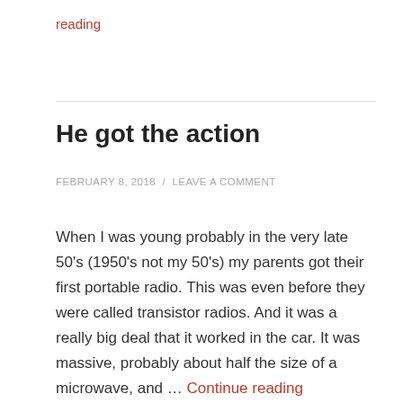reading
He got the action
FEBRUARY 8, 2018 / LEAVE A COMMENT
When I was young probably in the very late 50's (1950's not my 50's) my parents got their first portable radio. This was even before they were called transistor radios. And it was a really big deal that it worked in the car. It was massive, probably about half the size of a microwave, and … Continue reading